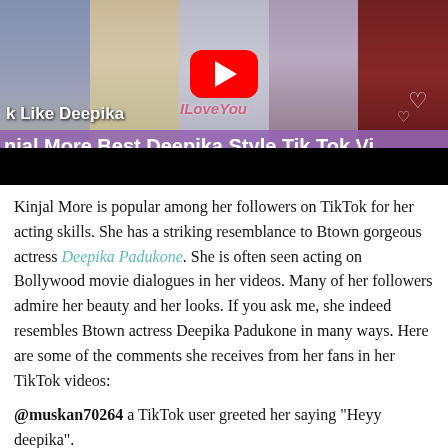[Figure (screenshot): YouTube video thumbnail showing multiple women, with a YouTube play button overlay, text 'k Like Deepika' and 'ILoveYou' and purple bar reading 'njal More Best Deepika Style Tik Tok Vi...']
Kinjal More is popular among her followers on TikTok for her acting skills. She has a striking resemblance to Btown gorgeous actress Deepika Padukone. She is often seen acting on Bollywood movie dialogues in her videos. Many of her followers admire her beauty and her looks. If you ask me, she indeed resembles Btown actress Deepika Padukone in many ways. Here are some of the comments she receives from her fans in her TikTok videos:
@muskan70264 a TikTok user greeted her saying "Heyy deepika".